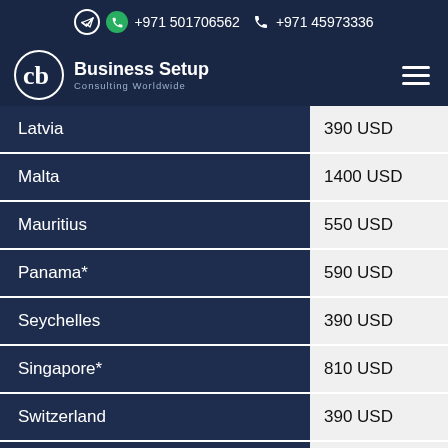+971 501706562  +971 45973336
[Figure (logo): Business Setup Consulting Worldwide logo with hamburger menu]
| Country | Price |
| --- | --- |
| Latvia | 390 USD |
| Malta | 1400 USD |
| Mauritius | 550 USD |
| Panama* | 590 USD |
| Seychelles | 390 USD |
| Singapore* | 810 USD |
| Switzerland | 390 USD |
| Nevis | 1,490 USD |